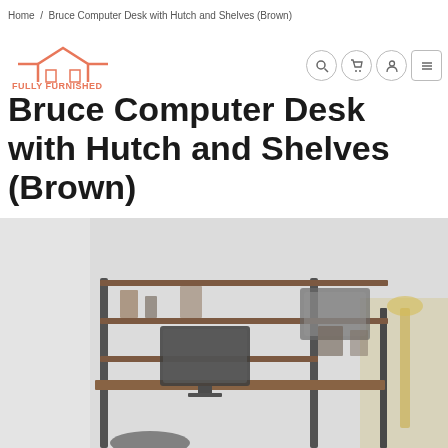Home / Bruce Computer Desk with Hutch and Shelves (Brown)
[Figure (logo): House/home icon with text FULLY FURNISHED in orange/coral color]
Bruce Computer Desk with Hutch and Shelves (Brown)
[Figure (photo): Product photo of Bruce Computer Desk with Hutch and Shelves in Brown finish, shown in a room setting, slightly blurred. Desk has a hutch with shelves above, industrial metal frame in dark color, and a monitor on the desk surface.]